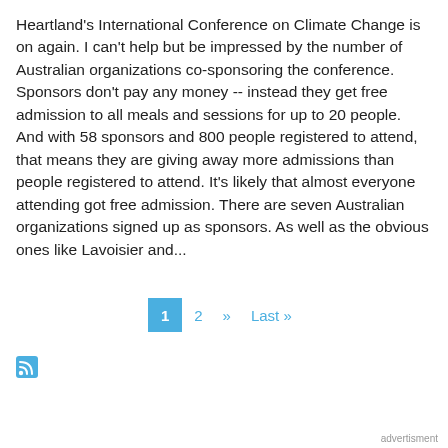Heartland's International Conference on Climate Change is on again. I can't help but be impressed by the number of Australian organizations co-sponsoring the conference. Sponsors don't pay any money -- instead they get free admission to all meals and sessions for up to 20 people. And with 58 sponsors and 800 people registered to attend, that means they are giving away more admissions than people registered to attend. It's likely that almost everyone attending got free admission. There are seven Australian organizations signed up as sponsors. As well as the obvious ones like Lavoisier and...
1  2  »  Last »
[Figure (other): RSS feed icon (orange/blue RSS symbol)]
advertisment